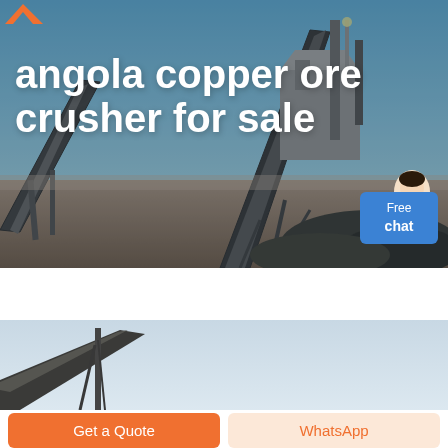[Figure (photo): Industrial copper ore crusher facility with conveyor belts and machinery against a blue sky background]
angola copper ore crusher for sale
[Figure (photo): Second photo of industrial conveyor belt machinery against a light sky]
Get a Quote
WhatsApp